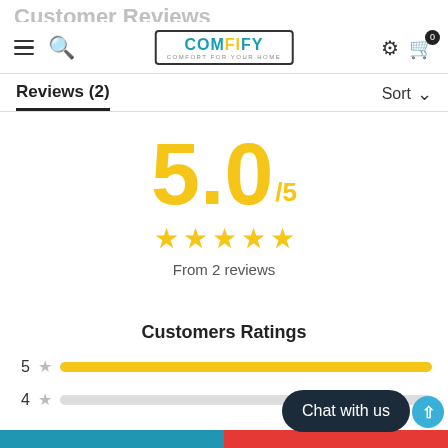COMFIFY — COMFORT FOR YOUR HOME
Customer Reviews
Reviews (2)
Sort
5.0/5
From 2 reviews
Customers Ratings
5 ★
4 ★
Chat with us